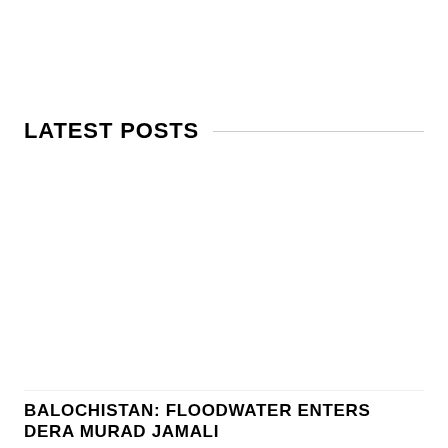LATEST POSTS
BALOCHISTAN: FLOODWATER ENTERS DERA MURAD JAMALI